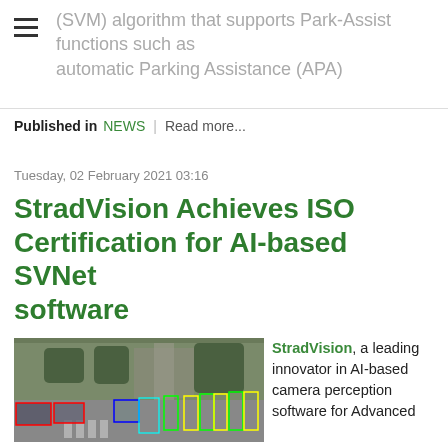(SVM) algorithm that supports Park-Assist functions such as Automatic Parking Assistance (APA)
Published in NEWS | Read more...
Tuesday, 02 February 2021 03:16
StradVision Achieves ISO Certification for AI-based SVNet software
[Figure (photo): Street scene with AI-based object detection bounding boxes overlaid on vehicles, pedestrians, and other objects]
StradVision, a leading innovator in AI-based camera perception software for Advanced